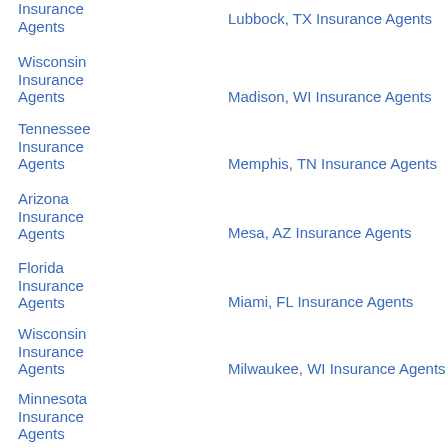Insurance Agents
Lubbock, TX Insurance Agents
Wisconsin Insurance Agents
Madison, WI Insurance Agents
Tennessee Insurance Agents
Memphis, TN Insurance Agents
Arizona Insurance Agents
Mesa, AZ Insurance Agents
Florida Insurance Agents
Miami, FL Insurance Agents
Wisconsin Insurance Agents
Milwaukee, WI Insurance Agents
Minnesota Insurance Agents
Minneapolis, MN Insurance Agents
California Insurance Agents
Modesto, CA Insurance Agents
Alabama Insurance Agents